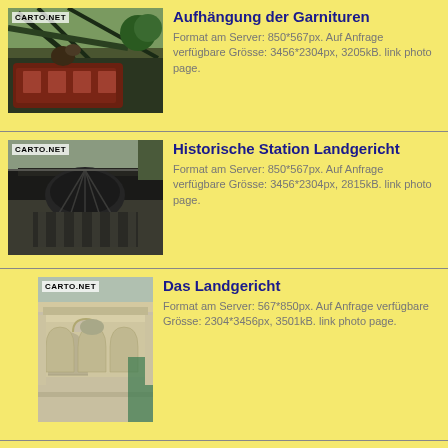[Figure (photo): Photo of Wuppertal suspension railway car with metal truss structure, CARTO.NET watermark]
Aufhängung der Garnituren
Format am Server: 850*567px. Auf Anfrage verfügbare Grösse: 3456*2304px, 3205kB. link photo page.
[Figure (photo): Photo of historic Landgericht station building with ornate roof structure, CARTO.NET watermark]
Historische Station Landgericht
Format am Server: 850*567px. Auf Anfrage verfügbare Grösse: 3456*2304px, 2815kB. link photo page.
[Figure (photo): Tall/portrait photo of Das Landgericht building with arched colonnade, CARTO.NET watermark]
Das Landgericht
Format am Server: 567*850px. Auf Anfrage verfügbare Grösse: 2304*3456px, 3501kB. link photo page.
[Figure (photo): Tall photo of Historische Station Landgericht with steel truss, CARTO.NET watermark]
Historische Station Landgericht
Format am Server: 567*850px. Auf Anfrage verfügbare Grösse: